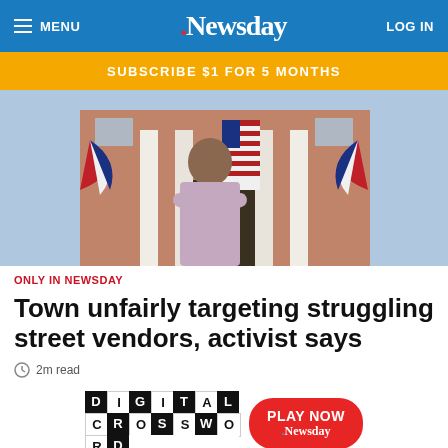MENU | Newsday | LOG IN
SUBSCRIBE $1 FOR 5 MONTHS
[Figure (photo): Man with arms crossed standing in front of a government building with large American flag and patriotic bunting decorations]
ONLY IN NEWSDAY
Town unfairly targeting struggling street vendors, activist says
2m read
[Figure (infographic): Digital Crossword advertisement with Play Now button and Newsday logo]